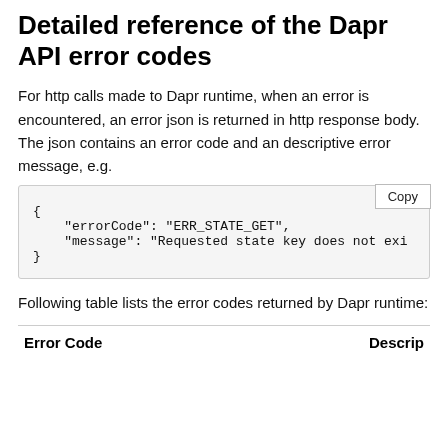Detailed reference of the Dapr API error codes
For http calls made to Dapr runtime, when an error is encountered, an error json is returned in http response body. The json contains an error code and an descriptive error message, e.g.
{
    "errorCode": "ERR_STATE_GET",
    "message": "Requested state key does not exi
}
Following table lists the error codes returned by Dapr runtime:
| Error Code | Descrip |
| --- | --- |